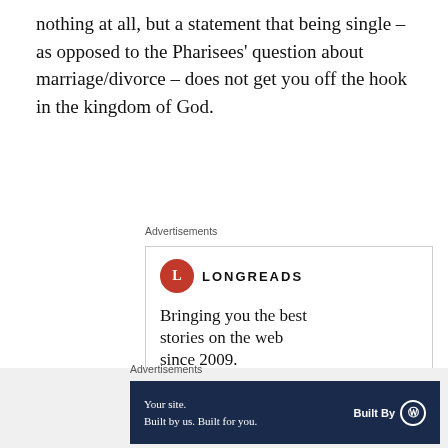nothing at all, but a statement that being single – as opposed to the Pharisees' question about marriage/divorce – does not get you off the hook in the kingdom of God.
Advertisements
[Figure (other): Longreads advertisement: logo with red circle L, tagline 'Bringing you the best stories on the web since 2009.' and red 'Start reading' button]
Advertisements
[Figure (other): WordPress Built By advertisement on dark navy background: 'Your site. Built by us. Built for you.' with Built By WordPress logo]